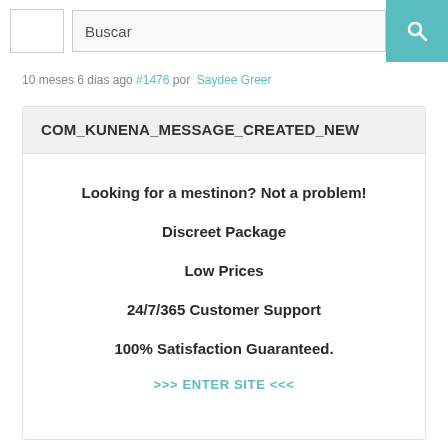Buscar
10 meses 6 dias ago #1476 por Saydee Greer
COM_KUNENA_MESSAGE_CREATED_NEW
Looking for a mestinon? Not a problem!
Discreet Package
Low Prices
24/7/365 Customer Support
100% Satisfaction Guaranteed.
>>> ENTER SITE <<<